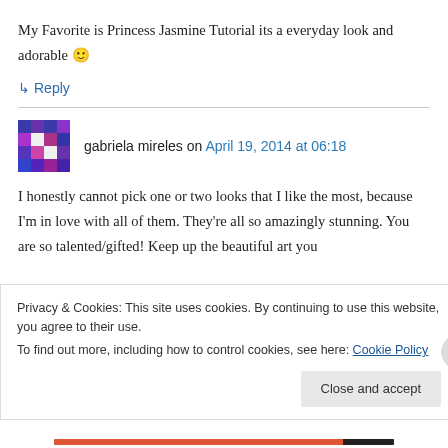My Favorite is Princess Jasmine Tutorial its a everyday look and adorable 🙂
↳ Reply
gabriela mireles on April 19, 2014 at 06:18
I honestly cannot pick one or two looks that I like the most, because I'm in love with all of them. They're all so amazingly stunning. You are so talented/gifted! Keep up the beautiful art you
Privacy & Cookies: This site uses cookies. By continuing to use this website, you agree to their use. To find out more, including how to control cookies, see here: Cookie Policy
Close and accept